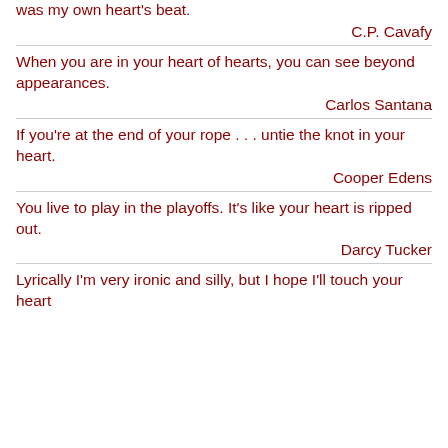was my own heart's beat.
C.P. Cavafy
When you are in your heart of hearts, you can see beyond appearances.
Carlos Santana
If you're at the end of your rope . . . untie the knot in your heart.
Cooper Edens
You live to play in the playoffs. It's like your heart is ripped out.
Darcy Tucker
Lyrically I'm very ironic and silly, but I hope I'll touch your heart